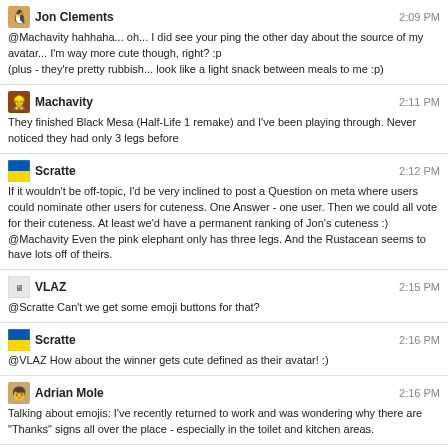Jon Clements 2:09 PM — @Machavity hahhaha... oh... I did see your ping the other day about the source of my avatar... I'm way more cute though, right? :p (plus - they're pretty rubbish... look like a light snack between meals to me :p)
Machavity 2:11 PM — They finished Black Mesa (Half-Life 1 remake) and I've been playing through. Never noticed they had only 3 legs before
Scratte 2:12 PM — If it wouldn't be off-topic, I'd be very inclined to post a Question on meta where users could nominate other users for cuteness. One Answer - one user. Then we could all vote for their cuteness. At least we'd have a permanent ranking of Jon's cuteness :) @Machavity Even the pink elephant only has three legs. And the Rustacean seems to have lots off of theirs.
VLAZ 2:15 PM — @Scratte Can't we get some emoji buttons for that?
Scratte 2:16 PM — @VLAZ How about the winner gets cute defined as their avatar! :)
Adrian Mole 2:16 PM — Talking about emojis: I've recently returned to work and was wondering why there are "Thanks" signs all over the place - especially in the toilet and kitchen areas.
VLAZ 2:16 PM — @AdrianMole You're supposed to thank the water for its service, duh.